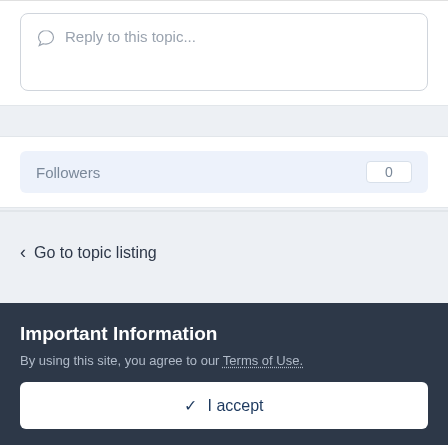Reply to this topic...
Followers 0
Go to topic listing
Important Information
By using this site, you agree to our Terms of Use.
✓ I accept